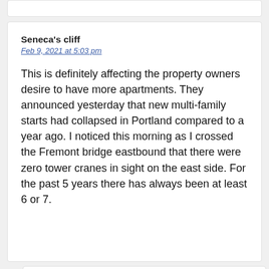Seneca's cliff
Feb 9, 2021 at 5:03 pm
This is definitely affecting the property owners desire to have more apartments. They announced yesterday that new multi-family starts had collapsed in Portland compared to a year ago. I noticed this morning as I crossed the Fremont bridge eastbound that there were zero tower cranes in sight on the east side. For the past 5 years there has always been at least 6 or 7.
WES
Feb 9, 2021 at 8:44 pm
Bobbie Det...